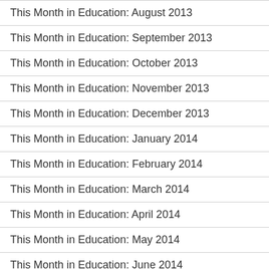This Month in Education: August 2013
This Month in Education: September 2013
This Month in Education: October 2013
This Month in Education: November 2013
This Month in Education: December 2013
This Month in Education: January 2014
This Month in Education: February 2014
This Month in Education: March 2014
This Month in Education: April 2014
This Month in Education: May 2014
This Month in Education: June 2014